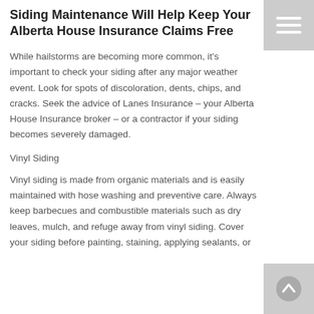Siding Maintenance Will Help Keep Your Alberta House Insurance Claims Free
While hailstorms are becoming more common, it's important to check your siding after any major weather event. Look for spots of discoloration, dents, chips, and cracks. Seek the advice of Lanes Insurance – your Alberta House Insurance broker – or a contractor if your siding becomes severely damaged.
Vinyl Siding
Vinyl siding is made from organic materials and is easily maintained with hose washing and preventive care. Always keep barbecues and combustible materials such as dry leaves, mulch, and refuge away from vinyl siding. Cover your siding before painting, staining, applying sealants, or